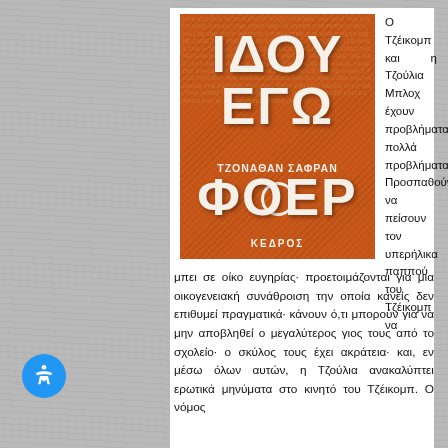[Figure (illustration): Book cover of 'ΙΔΟΥ ΕΓΩ' (Here I Am) by Jonathan Safran Foer, Greek edition published by Κέδρος. Orange/brown textured background with large white bold Greek letters spelling ΙΔΟΥ ΕΓΩ ΦΟΕΡ, with author name ΤΖΟΝΑΘΑΝ ΣΑΦΡΑΝ in white text.]
Ο Τζέικομπ και η Τζούλια Μπλοχ έχουν προβλήματα... πολλά προβλήματα. Προσπαθούν να πείσουν τον υπερήλικα παππού του Τζέικομπ να μπει σε οίκο ευγηρίας· προετοιμάζονται για μια οικογενειακή συνάθροιση την οποία κανείς δεν επιθυμεί πραγματικά· κάνουν ό,τι μπορούν για να μην αποβληθεί ο μεγαλύτερος γιος τους από το σχολείο· ο σκύλος τους έχει ακράτεια· και, εν μέσω όλων αυτών, η Τζούλια ανακαλύπτει ερωτικά μηνύματα στο κινητό του Τζέικομπ. Ο νόμος